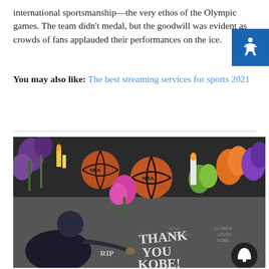international sportsmanship—the very ethos of the Olympic games. The team didn't medal, but the goodwill was evident as crowds of fans applauded their performances on the ice.
You may also like: The best streaming services for sports 2021
[Figure (photo): A person kneeling on the ground writing 'THANK YOU KOBE!' in chalk, surrounded by basketballs, flowers, and other tributes at a memorial site.]